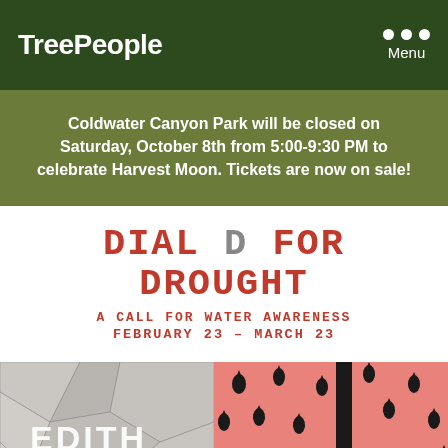TreePeople
Coldwater Canyon Park will be closed on Saturday, October 8th from 5:00-9:30 PM to celebrate Harvest Moon. Tickets are now on sale!
DIAL D FOR DROUGHT
A CALL FOR WATER AWARENESS
FEBRUARY 23 – MARCH 23
[Figure (photo): Black and white photo with text 'EDITH' overlaid, showing cracked dry earth]
[Figure (illustration): Pink/coral background illustration with black raindrops and a curved pipe/hose shape]